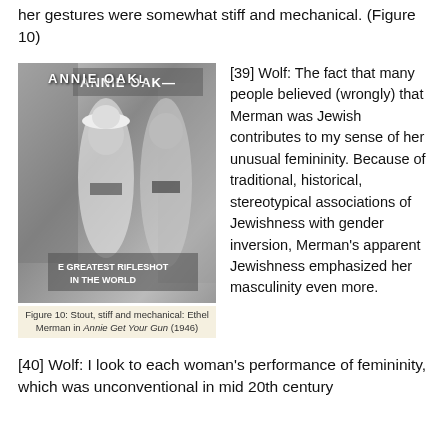her gestures were somewhat stiff and mechanical. (Figure 10)
[Figure (photo): Black and white photograph of Ethel Merman in Annie Get Your Gun (1946), showing two women in period costumes with a banner reading 'THE GREATEST RIFLESHOT IN THE WORLD' and a sign reading 'ANNIE OAK—' in the background.]
Figure 10: Stout, stiff and mechanical: Ethel Merman in Annie Get Your Gun (1946)
[39] Wolf: The fact that many people believed (wrongly) that Merman was Jewish contributes to my sense of her unusual femininity. Because of traditional, historical, stereotypical associations of Jewishness with gender inversion, Merman's apparent Jewishness emphasized her masculinity even more.
[40] Wolf: I look to each woman's performance of femininity, which was unconventional in mid 20th century